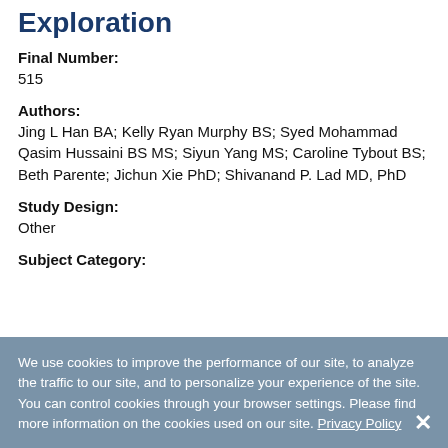Exploration
Final Number:
515
Authors:
Jing L Han BA; Kelly Ryan Murphy BS; Syed Mohammad Qasim Hussaini BS MS; Siyun Yang MS; Caroline Tybout BS; Beth Parente; Jichun Xie PhD; Shivanand P. Lad MD, PhD
Study Design:
Other
Subject Category:
We use cookies to improve the performance of our site, to analyze the traffic to our site, and to personalize your experience of the site. You can control cookies through your browser settings. Please find more information on the cookies used on our site. Privacy Policy